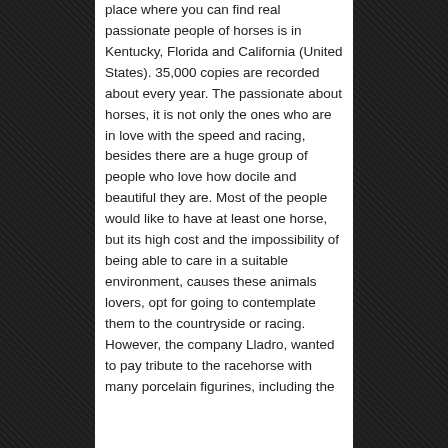place where you can find real passionate people of horses is in Kentucky, Florida and California (United States). 35,000 copies are recorded about every year. The passionate about horses, it is not only the ones who are in love with the speed and racing, besides there are a huge group of people who love how docile and beautiful they are. Most of the people would like to have at least one horse, but its high cost and the impossibility of being able to care in a suitable environment, causes these animals lovers, opt for going to contemplate them to the countryside or racing. However, the company Lladro, wanted to pay tribute to the racehorse with many porcelain figurines, including the